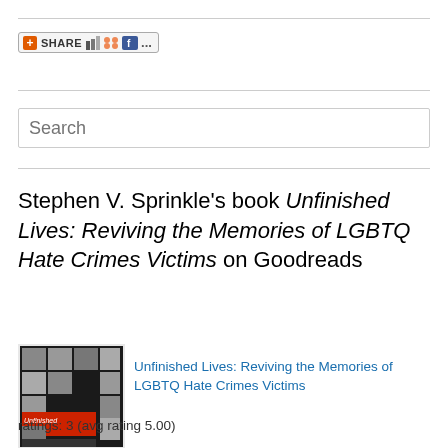[Figure (screenshot): Share button with social media icons including orange plus, del.icio.us, Digg, Facebook, and ellipsis]
Search
Stephen V. Sprinkle's book Unfinished Lives: Reviving the Memories of LGBTQ Hate Crimes Victims on Goodreads
[Figure (photo): Book cover of Unfinished Lives: Reviving the Memories of LGBTQ Hate Crimes Victims]
Unfinished Lives: Reviving the Memories of LGBTQ Hate Crimes Victims
ratings: 3 (avg rating 5.00)